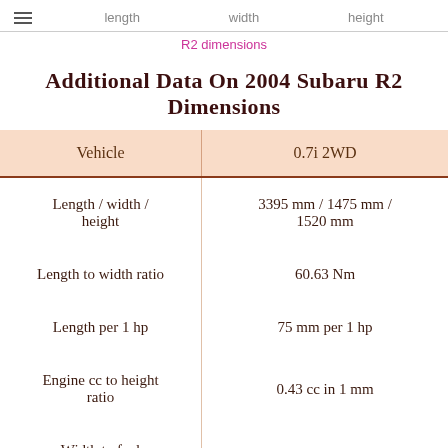length   width   height
R2 dimensions
Additional Data On 2004 Subaru R2 Dimensions
| Vehicle | 0.7i 2WD |
| --- | --- |
| Length / width / height | 3395 mm / 1475 mm / 1520 mm |
| Length to width ratio | 60.63 Nm |
| Length per 1 hp | 75 mm per 1 hp |
| Engine cc to height ratio | 0.43 cc in 1 mm |
| Width to fuel |  |